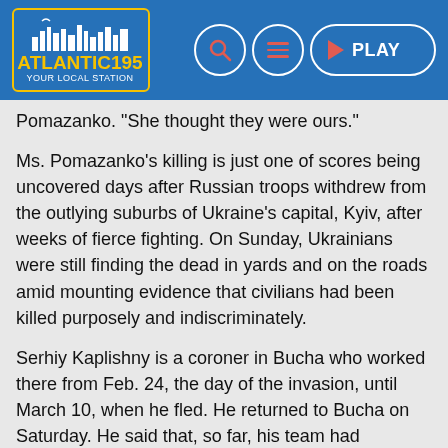Atlantic195 [logo] [search] [menu] [PLAY]
Pomazanko. "She thought they were ours."
Ms. Pomazanko's killing is just one of scores being uncovered days after Russian troops withdrew from the outlying suburbs of Ukraine's capital, Kyiv, after weeks of fierce fighting. On Sunday, Ukrainians were still finding the dead in yards and on the roads amid mounting evidence that civilians had been killed purposely and indiscriminately.
Serhiy Kaplishny is a coroner in Bucha who worked there from Feb. 24, the day of the invasion, until March 10, when he fled. He returned to Bucha on Saturday. He said that, so far, his team had collected more than 100 bodies during and after the fighting and the Russian occupation.
Mr. Kaplishny said that before he left Bucha — as back-and-forth battles raged and then the Russian Army established control — he had buried 57 bodies in a cemetery. Fifteen of those people had died of natural causes, the rest from gunshot